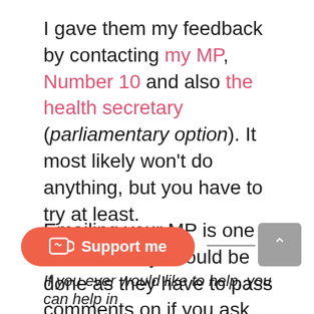I gave them my feedback by contacting my MP, Number 10 and also the health secretary (parliamentary option). It most likely won't do anything, but you have to try at least.
Emailing your MP is one that definitely should be done as they have to pass comments on if you ask them to. Just click the link above and you can find your MP and just send an email to them.
If you ever would like to help, you can help in